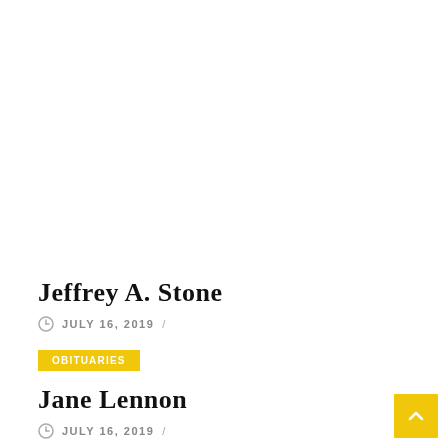Jeffrey A. Stone
JULY 16, 2019  /
OBITUARIES
Jane Lennon
JULY 16, 2019  /